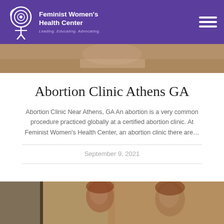Feminist Women's Health Center — Leading. Educating. Advocating.
[Figure (photo): Top photo strip showing a person writing or reviewing documents, partially visible]
Abortion Clinic Athens GA
Abortion Clinic Near Athens, GA An abortion is a very common procedure practiced globally at a certified abortion clinic. At Feminist Women's Health Center, an abortion clinic there are…
September 9, 2021
[Figure (photo): Bottom photo strip showing two people with reddish-brown hair, appears to be a consultation or meeting scene]